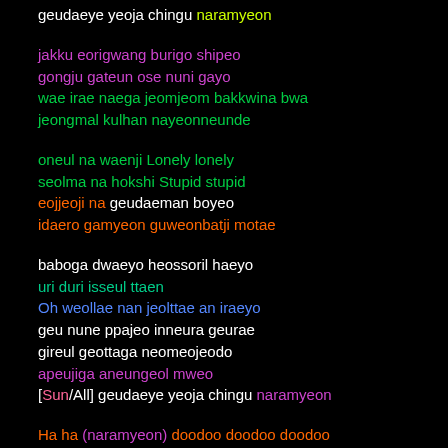geudaeye yeoja chingu naramyeon
jakku eorigwang burigo shipeo
gongju gateun ose nuni gayo
wae irae naega jeomjeom bakkwina bwa
jeongmal kulhan nayeonneunde
oneul na waenji Lonely lonely
seolma na hokshi Stupid stupid
eojjeoji na geudaeman boyeo
idaero gamyeon guweonbatji motae
baboga dwaeyo heossoril haeyo
uri duri isseul ttaen
Oh weollae nan jeolttae an iraeyo
geu nune ppajeo inneura geurae
gireul geottaga neomeojeodo
apeujiga aneungeol mweo
[Sun/All] geudaeye yeoja chingu naramyeon
Ha ha (naramyeon) doodoo doodoo doodoo
I'm gonna say it one more time